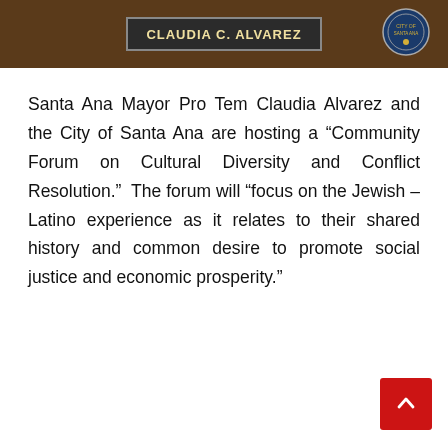[Figure (photo): Photo strip showing a name plate reading 'CLAUDIA C. ALVAREZ' against a dark wood background with a city seal visible on the right side.]
Santa Ana Mayor Pro Tem Claudia Alvarez and the City of Santa Ana are hosting a “Community Forum on Cultural Diversity and Conflict Resolution.”  The forum will “focus on the Jewish – Latino experience as it relates to their shared history and common desire to promote social justice and economic prosperity.”